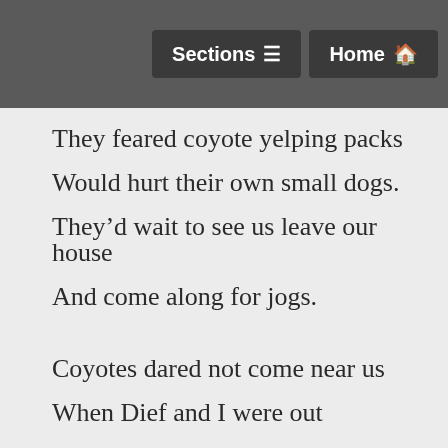Sections  Home
They feared coyote yelping packs
Would hurt their own small dogs.
They’d wait to see us leave our house
And come along for jogs.

Coyotes dared not come near us
When Dief and I were out
The neighbors kept their distance
But near enough to shout.

Dief saw them all as family
Dief saw them all as family